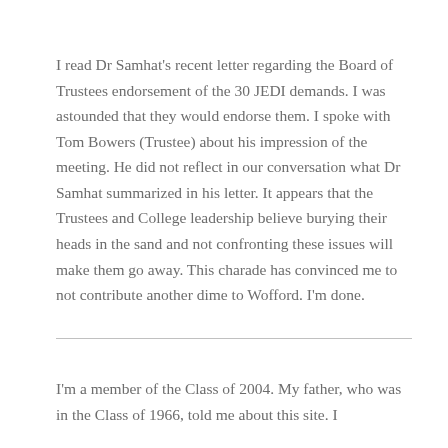I read Dr Samhat's recent letter regarding the Board of Trustees endorsement of the 30 JEDI demands. I was astounded that they would endorse them. I spoke with Tom Bowers (Trustee) about his impression of the meeting. He did not reflect in our conversation what Dr Samhat summarized in his letter. It appears that the Trustees and College leadership believe burying their heads in the sand and not confronting these issues will make them go away. This charade has convinced me to not contribute another dime to Wofford. I'm done.
I'm a member of the Class of 2004. My father, who was in the Class of 1966, told me about this site. I